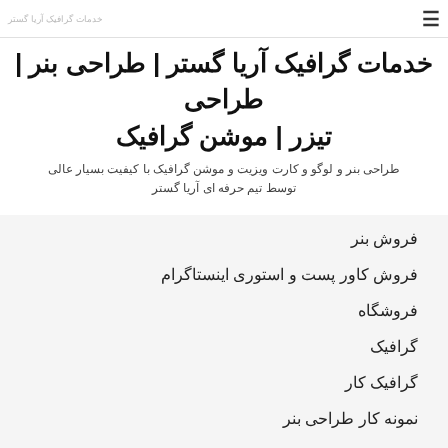خدمات گرافیک آریا گستر | طراحی بنر | طراحی تیزر | موشن گرافیک
خدمات گرافیک آریا گستر | طراحی بنر | طراحی تیزر | موشن گرافیک
طراحی بنر و لوگو و کارت ویزیت و موشن گرافیک با کیفیت بسیار عالی توسط تیم حرفه ای آریا گستر
فروش بنر
فروش کاور پست و استوری اینستاگرام
فروشگاه
گرافیک
گرافیک کار
نمونه کار طراحی بنر